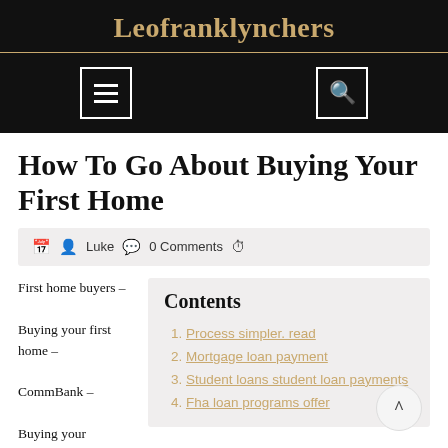Leofranklynchers
How To Go About Buying Your First Home
Luke   0 Comments
First home buyers – Buying your first home – CommBank – Buying your
Contents
Process simpler. read
Mortgage loan payment
Student loans student loan payments
Fha loan programs offer